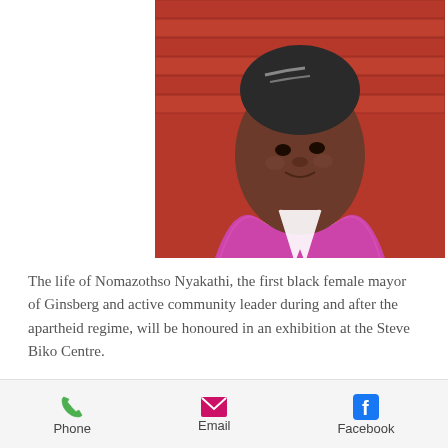[Figure (photo): Portrait photo of an elderly Black woman wearing a magenta/pink fuzzy jacket and white collar shirt, smiling, photographed against a red brick wall background. Image is cropped to show face and upper shoulders.]
The life of Nomazothso Nyakathi, the first black female mayor of Ginsberg and active community leader during and after the apartheid regime, will be honoured in an exhibition at the Steve Biko Centre.
“Zotshi”, as she is affectionately known, was a pillar of the community who worked as a professional nurse, was a loving mother and a staunch black consciousness movement activist.
Phone   Email   Facebook